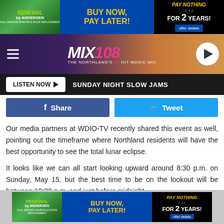[Figure (screenshot): Renewal by Andersen advertisement banner: Buy Now, Pay Later! Pay Nothing for 2 Years! offer details]
[Figure (logo): MIX 108 - The Northland's #1 Hit Music Mix radio station header with hamburger menu and play button]
LISTEN NOW ▶   SUNDAY NIGHT SLOW JAMS
Share   Tweet
Our media partners at WDIO-TV recently shared this event as well, pointing out the timeframe where Northland residents will have the best opportunity to see the total lunar eclipse.
It looks like we can all start looking upward around 8:30 p.m. on Sunday, May 15, but the best time to be on the lookout will be between 10:30 p.m. and just before midnight.
[Figure (screenshot): Renewal by Andersen advertisement banner (bottom): Buy Now, Pay Later! Pay Nothing for 2 Years! offer details]